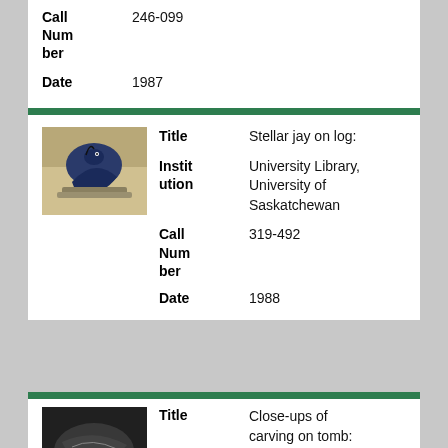| Field | Value |
| --- | --- |
| Call Number | 246-099 |
| Date | 1987 |
| Field | Value |
| --- | --- |
| Title | Stellar jay on log: |
| Institution | University Library, University of Saskatchewan |
| Call Number | 319-492 |
| Date | 1988 |
[Figure (photo): Photo of a stellar jay bird perched on a log or rock]
| Field | Value |
| --- | --- |
| Title | Close-ups of carving on tomb: |
| Institution | University Library, University of |
[Figure (photo): Dark photo of a carving on a tomb]